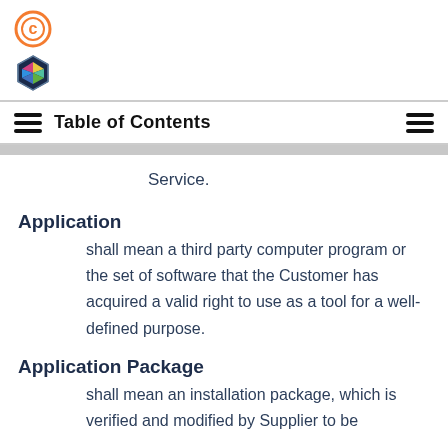[Figure (logo): Orange circle logo with letter C]
[Figure (logo): Hexagon logo with colorful gem/cube icon]
Table of Contents
Service.
Application
shall mean a third party computer program or the set of software that the Customer has acquired a valid right to use as a tool for a well-defined purpose.
Application Package
shall mean an installation package, which is verified and modified by Supplier to be